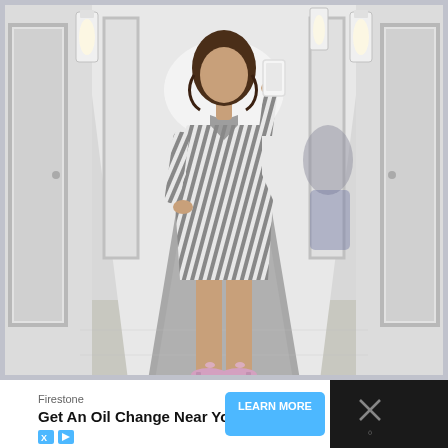[Figure (photo): Mirror selfie of a woman in a gray and white striped/printed dress with long sleeves, wearing pink bow heels, standing in a luxurious fitting room hallway with white walls, sconce lighting, and a gray carpet runner. She is holding up a white smartphone to take the photo.]
[Figure (screenshot): Advertisement banner at the bottom of the image. Dark background with white content area showing 'Firestone' advertiser name, headline 'Get An Oil Change Near You', X and play icon badges in blue, a blue 'LEARN MORE' CTA button, and a close/X icon on the right side.]